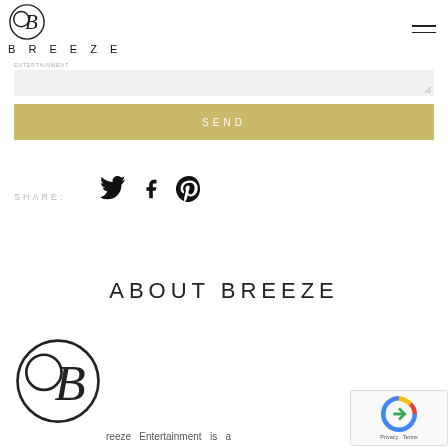BREEZE
[Figure (other): Textarea input field with light gray background and resize handle]
SEND
SHARE:
[Figure (illustration): Social media icons: Twitter bird, Facebook f, Pinterest p]
ABOUT BREEZE
[Figure (logo): Breeze Entertainment circular logo with stylized B]
[Figure (other): reCAPTCHA widget with Privacy - Terms text]
reeze Entertainment is a